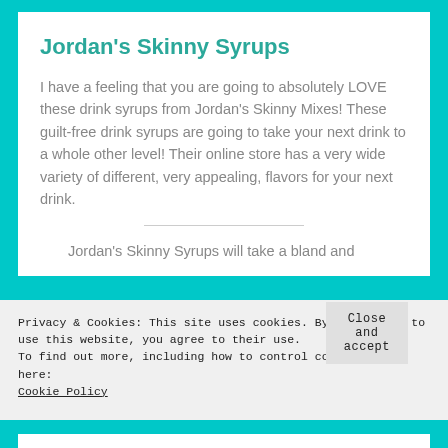Jordan's Skinny Syrups
I have a feeling that you are going to absolutely LOVE these drink syrups from Jordan's Skinny Mixes! These guilt-free drink syrups are going to take your next drink to a whole other level! Their online store has a very wide variety of different, very appealing, flavors for your next drink.
Jordan's Skinny Syrups will take a bland and
Privacy & Cookies: This site uses cookies. By continuing to use this website, you agree to their use.
To find out more, including how to control cookies, see here:
Cookie Policy
Close and accept